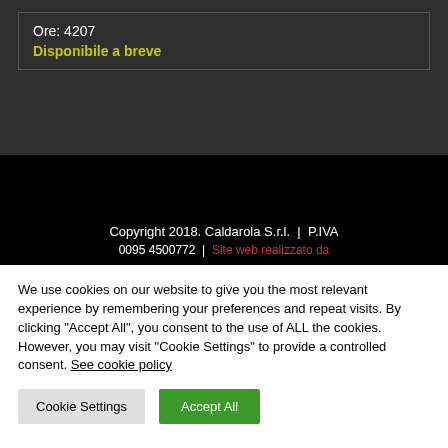Ore: 4207
Disponibile a breve
Copyright 2018. Caldarola S.r.l. | P.IVA
0095 4500772 | Site web realizzato da
We use cookies on our website to give you the most relevant experience by remembering your preferences and repeat visits. By clicking "Accept All", you consent to the use of ALL the cookies. However, you may visit "Cookie Settings" to provide a controlled consent. See cookie policy
Cookie Settings
Accept All